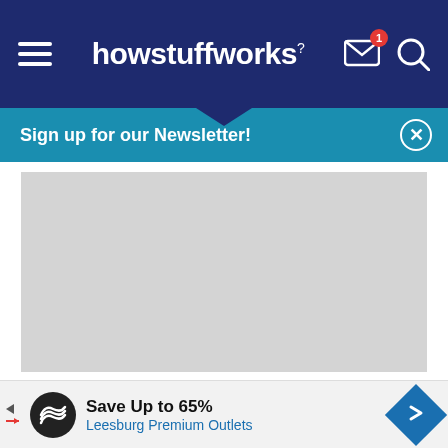howstuffworks
[Figure (screenshot): Gray placeholder advertisement block]
Generally, a stronger, larger person can exert more energy than a weaker, smaller person. But this doesn't necessarily determine the victor. If you've
[Figure (infographic): Bottom advertisement banner: Save Up to 65% Leesburg Premium Outlets]